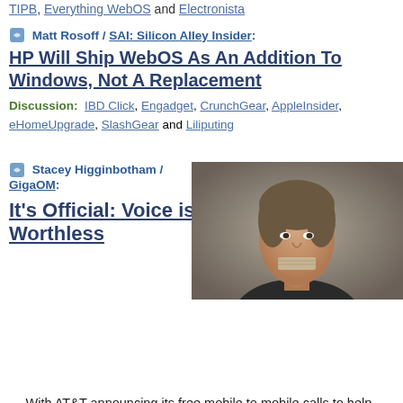TIPB, Everything WebOS and Electronista
Matt Rosoff / SAI: Silicon Alley Insider:
HP Will Ship WebOS As An Addition To Windows, Not A Replacement
Discussion: IBD Click, Engadget, CrunchGear, AppleInsider, eHomeUpgrade, SlashGear and Liliputing
Stacey Higginbotham / GigaOM:
It's Official: Voice is Worthless
[Figure (photo): Photo of a man with tape over his mouth, depicting silenced voice]
— With AT&T announcing its free mobile to mobile calls to help fend off customers defecting for the iPhone on Verizon's network, it's time to recognize that voice is now worthless. We can joke that AT&T clearly thought that all along (hello, dropped calls) …
Discussion: AT&T, ThinkMobile, Computerworld, TiPb, Sidecut Reports,